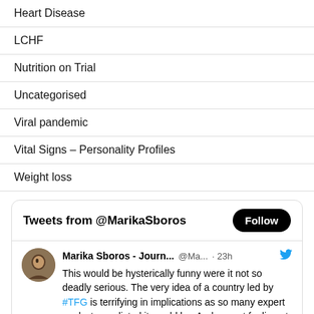Heart Disease
LCHF
Nutrition on Trial
Uncategorised
Viral pandemic
Vital Signs – Personality Profiles
Weight loss
[Figure (screenshot): Twitter widget showing Tweets from @MarikaSboros with a Follow button. A tweet by Marika Sboros - Journ... @Ma... · 23h reads: This would be hysterically funny were it not so deadly serious. The very idea of a country led by #TFG is terrifying in implications as so many expert analysts predicted it would be. And my gut feeling at the time screamed that it]